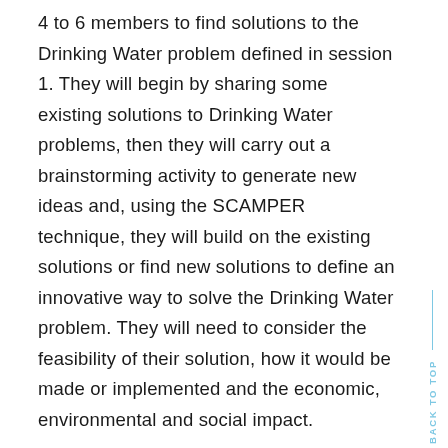4 to 6 members to find solutions to the Drinking Water problem defined in session 1. They will begin by sharing some existing solutions to Drinking Water problems, then they will carry out a brainstorming activity to generate new ideas and, using the SCAMPER technique, they will build on the existing solutions or find new solutions to define an innovative way to solve the Drinking Water problem. They will need to consider the feasibility of their solution, how it would be made or implemented and the economic, environmental and social impact.